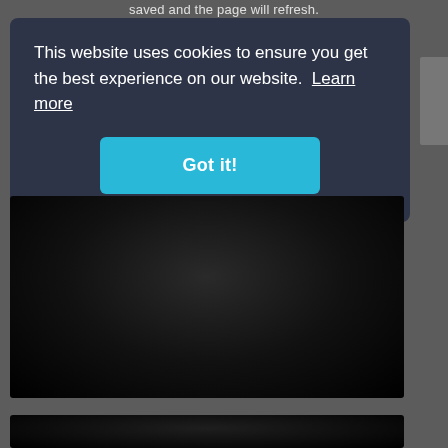saved and the page will refresh.
This website uses cookies to ensure you get the best experience on our website. Learn more
Got it!
[Figure (screenshot): Dark/black video player area - first video block]
[Figure (screenshot): Dark/black video player area - second video block (partially visible)]